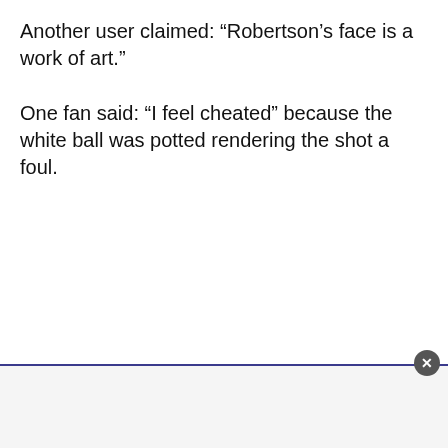Another user claimed: “Robertson’s face is a work of art.”
One fan said: “I feel cheated” because the white ball was potted rendering the shot a foul.